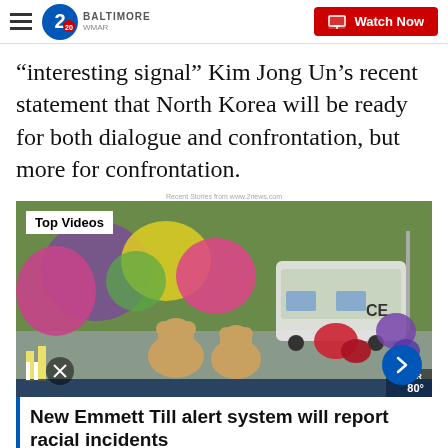WMAR 2 Baltimore — Watch Now
“interesting signal” Kim Jong Un’s recent statement that North Korea will be ready for both dialogue and confrontation, but more for confrontation.
[Figure (photo): Video thumbnail showing a memorial with flowers, teddy bears, and a police vehicle in the background. Overlay text: 'Top Videos'. Bottom bar shows temperature '80' and WMAR logo. A blue next-arrow button is visible bottom right.]
New Emmett Till alert system will report racial incidents